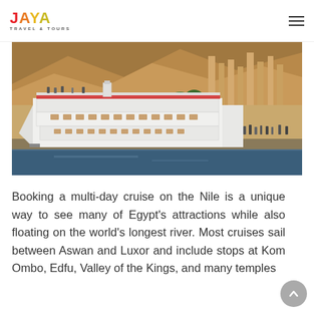JAYA TRAVEL & TOURS
[Figure (photo): A white multi-deck Nile cruise ship docked at a riverbank, with ancient Egyptian temple columns and rocky cliffs visible in the background, tourists on the upper deck, river water in the foreground.]
Booking a multi-day cruise on the Nile is a unique way to see many of Egypt's attractions while also floating on the world's longest river. Most cruises sail between Aswan and Luxor and include stops at Kom Ombo, Edfu, Valley of the Kings, and many temples